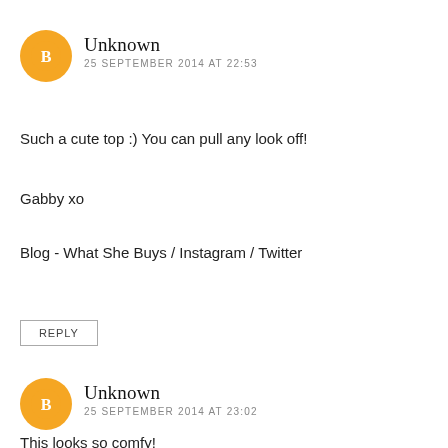Unknown
25 SEPTEMBER 2014 AT 22:53
Such a cute top :) You can pull any look off!
Gabby xo
Blog - What She Buys / Instagram / Twitter
REPLY
Unknown
25 SEPTEMBER 2014 AT 23:02
This looks so comfy!